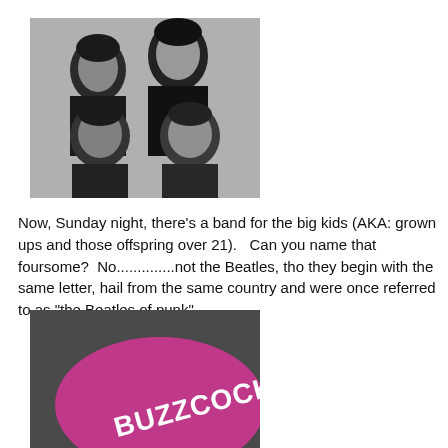[Figure (photo): Black and white photo of four young men, a band, posed together looking at camera.]
Now, Sunday night, there's a band for the big kids (AKA: grown ups and those offspring over 21).   Can you name that foursome?  No..............not the Beatles, tho they begin with the same letter, hail from the same country and were once referred to as "the Beatles of punk".
[Figure (photo): Photo of a pink/magenta oval badge or pin on a dark background with the text 'BUZZCOCKS' in bold white letters.]